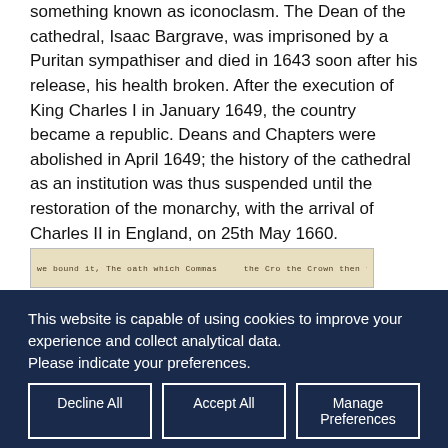something known as iconoclasm. The Dean of the cathedral, Isaac Bargrave, was imprisoned by a Puritan sympathiser and died in 1643 soon after his release, his health broken. After the execution of King Charles I in January 1649, the country became a republic. Deans and Chapters were abolished in April 1649; the history of the cathedral as an institution was thus suspended until the restoration of the monarchy, with the arrival of Charles II in England, on 25th May 1660.
[Figure (photo): A strip image showing old handwritten manuscript text on aged parchment/paper.]
This website is capable of using cookies to improve your experience and collect analytical data.
Please indicate your preferences.